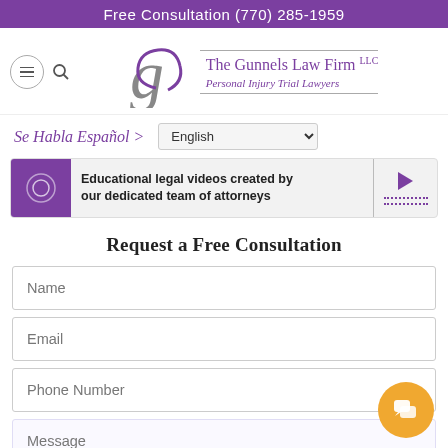Free Consultation (770) 285-1959
[Figure (logo): The Gunnels Law Firm LLC logo with stylized G and text 'Personal Injury Trial Lawyers']
Se Habla Español >
[Figure (screenshot): Video banner: Educational legal videos created by our dedicated team of attorneys]
Request a Free Consultation
Name
Email
Phone Number
Message